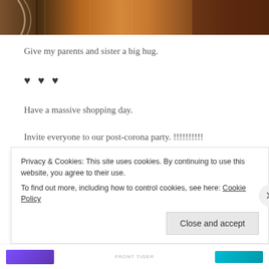[Figure (photo): Partial photo strip showing ropes and rocky/earthy textures in warm brown tones]
Give my parents and sister a big hug.
♥ ♥ ♥
Have a massive shopping day.
Invite everyone to our post-corona party. !!!!!!!!!!
I know we're not there yet, but thinking about it gives me
Privacy & Cookies: This site uses cookies. By continuing to use this website, you agree to their use.
To find out more, including how to control cookies, see here: Cookie Policy
Close and accept